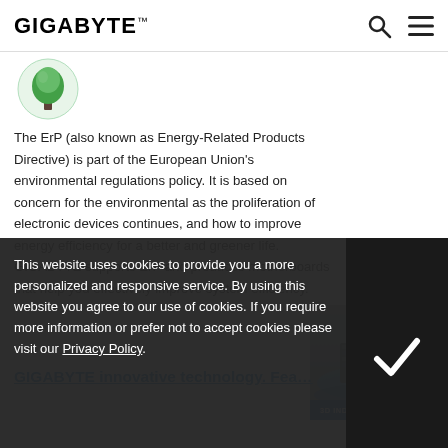GIGABYTE™
[Figure (logo): Green tree/leaf logo icon for ErP environmental certification]
The ErP (also known as Energy-Related Products Directive) is part of the European Union's environmental regulations policy. It is based on concern for the environmental as the proliferation of electronic devices continues, and how to improve energy efficiency for a better and greener life. GIGABYTE supports ErP and produces motherboards that help you effectively improve system efficiency.
[Figure (illustration): 3D isometric illustration of industrial/server room with '3D INDUSTRY >' label overlay]
GIGABYTE innovative technology. Fea...
This website uses cookies to provide you a more personalized and responsive service. By using this website you agree to our use of cookies. If you require more information or prefer not to accept cookies please visit our Privacy Policy.